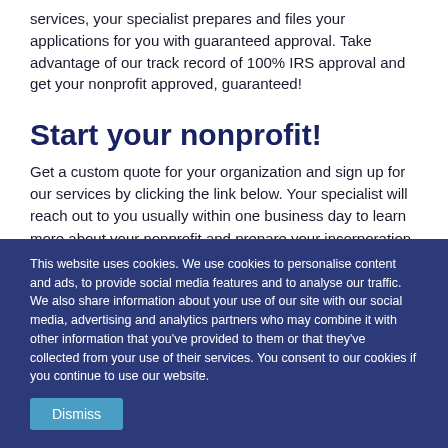services, your specialist prepares and files your applications for you with guaranteed approval. Take advantage of our track record of 100% IRS approval and get your nonprofit approved, guaranteed!
Start your nonprofit!
Get a custom quote for your organization and sign up for our services by clicking the link below. Your specialist will reach out to you usually within one business day to learn more about your nonprofit and prepare your incorporation paperwork. We guarantee your 501(c)(3) approval, so you can start your nonprofit with confidence.
This website uses cookies. We use cookies to personalise content and ads, to provide social media features and to analyse our traffic. We also share information about your use of our site with our social media, advertising and analytics partners who may combine it with other information that you've provided to them or that they've collected from your use of their services. You consent to our cookies if you continue to use our website.